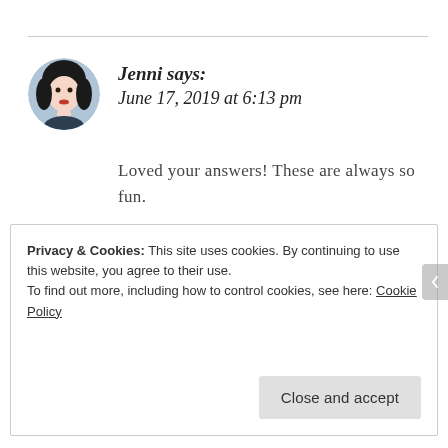Jenni says: June 17, 2019 at 6:13 pm
Loved your answers! These are always so fun.
★ Liked by 3 people
Reply
Privacy & Cookies: This site uses cookies. By continuing to use this website, you agree to their use.
To find out more, including how to control cookies, see here: Cookie Policy
Close and accept